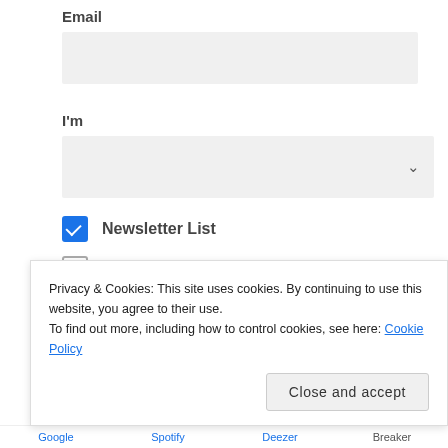Email
I'm
Newsletter List (checked)
I am a Radio Station or Dj (unchecked)
I am an Artists (unchecked)
I am a Publicist (unchecked, partially visible)
Privacy & Cookies: This site uses cookies. By continuing to use this website, you agree to their use.
To find out more, including how to control cookies, see here: Cookie Policy
Close and accept
Google  Spotify  Deezer  Breaker